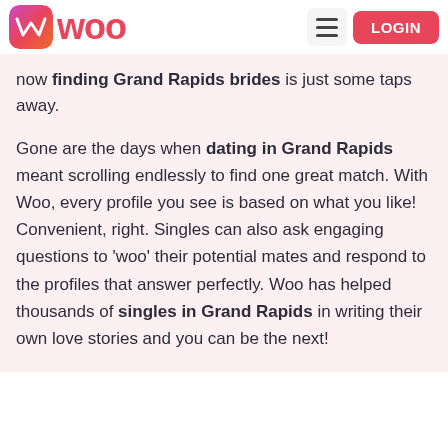Woo – LOGIN
now finding Grand Rapids brides is just some taps away.
Gone are the days when dating in Grand Rapids meant scrolling endlessly to find one great match. With Woo, every profile you see is based on what you like! Convenient, right. Singles can also ask engaging questions to 'woo' their potential mates and respond to the profiles that answer perfectly. Woo has helped thousands of singles in Grand Rapids in writing their own love stories and you can be the next!